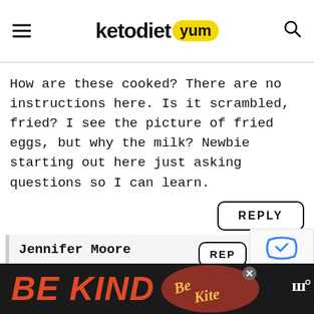ketodiet yum
How are these cooked? There are no instructions here. Is it scrambled, fried? I see the picture of fried eggs, but why the milk? Newbie starting out here just asking questions so I can learn.
REPLY
Jennifer Moore
Hi Brenda, sorry for the confusion... added the directions now, enjo...
WHAT'S NEXT → Keto Scrambled...
BE KIND